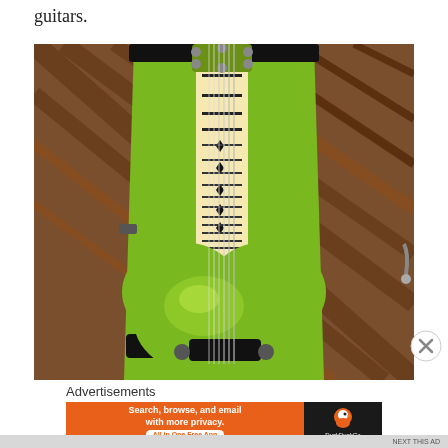guitars.
[Figure (photo): Overhead view of a green electric guitar with maple fretboard resting on a matching green guitar case, placed on a wooden floor.]
Advertisements
[Figure (other): DuckDuckGo advertisement banner: 'Search, browse, and email with more privacy. All in One Free App' with DuckDuckGo duck logo on dark background.]
NEXT THIS AD